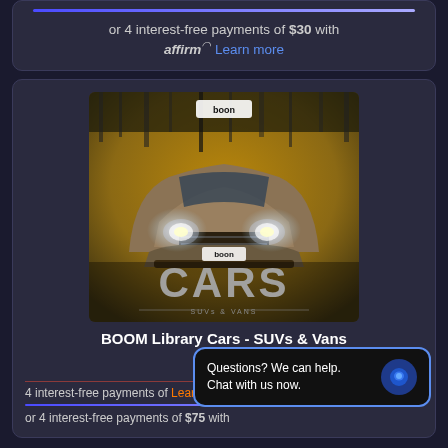or 4 interest-free payments of $30 with affirm. Learn more
[Figure (illustration): BOOM Library Cars - SUVs & Vans product cover art showing an SUV approaching with headlights on, with text CARS and SUVs & VANS]
BOOM Library Cars - SUVs & Vans
$299
4 interest-free payments of Learn Mo...
or 4 interest-free payments of $75 with
Questions? We can help. Chat with us now.